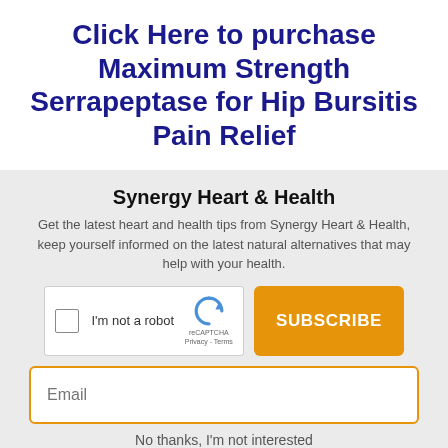Click Here to purchase Maximum Strength Serrapeptase for Hip Bursitis Pain Relief
Synergy Heart & Health
Get the latest heart and health tips from Synergy Heart & Health, keep yourself informed on the latest natural alternatives that may help with your health.
[Figure (screenshot): reCAPTCHA widget with checkbox labeled 'I'm not a robot' and SUBSCRIBE button]
Email
No thanks, I'm not interested